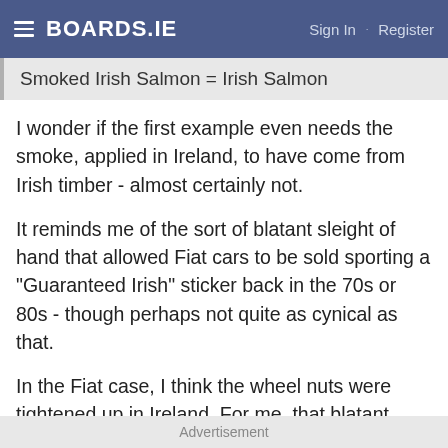BOARDS.IE   Sign In · Register
Smoked Irish Salmon = Irish Salmon
I wonder if the first example even needs the smoke, applied in Ireland, to have come from Irish timber - almost certainly not.
It reminds me of the sort of blatant sleight of hand that allowed Fiat cars to be sold sporting a "Guaranteed Irish" sticker back in the 70s or 80s - though perhaps not quite as cynical as that.
In the Fiat case, I think the wheel nuts were tightened up in Ireland. For me, that blatant piece of commercial opportunism destroyed any credibility "Guaranteed Irish" had as a guarantee of anything at all then and
Advertisement